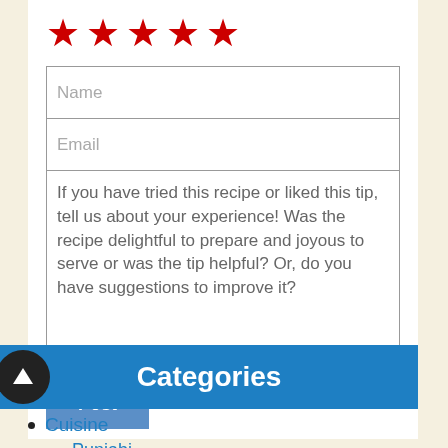[Figure (other): Five red star rating icons in a row]
Name
Email
If you have tried this recipe or liked this tip, tell us about your experience! Was the recipe delightful to prepare and joyous to serve or was the tip helpful? Or, do you have suggestions to improve it?
Post
Categories
Cuisine
Punjabi
South Indian